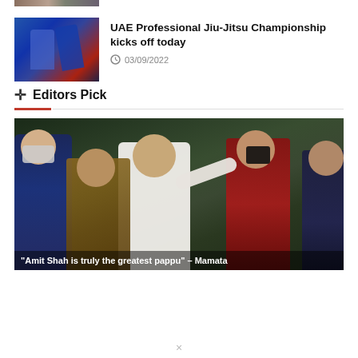[Figure (photo): Partial thumbnail image at top of page, showing martial arts or sports figures]
[Figure (photo): Thumbnail of jiu-jitsu championship event, two people in blue uniforms sparring]
UAE Professional Jiu-Jitsu Championship kicks off today
03/09/2022
✦ Editors Pick
[Figure (photo): Large photo of a group of people outdoors; a man in white shirt waving, another in patterned outfit, person with camera, greenery in background. Caption: "Amit Shah is truly the greatest pappu" – Mamata]
"Amit Shah is truly the greatest pappu" – Mamata